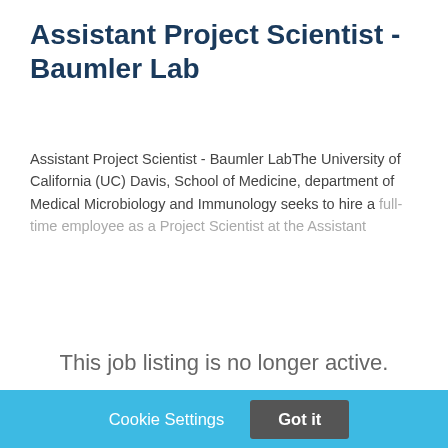Assistant Project Scientist - Baumler Lab
Assistant Project Scientist - Baumler LabThe University of California (UC) Davis, School of Medicine, department of Medical Microbiology and Immunology seeks to hire a full-time employee as a Project Scientist at the Assistant
This job listing is no longer active.
Cookie Settings
Got it
We use cookies so that we can remember you and understand how you use our site. If you do not agree with our use of cookies, please change the current settings found in our Cookie Policy. Otherwise, you agree to the use of the cookies as they are currently set.